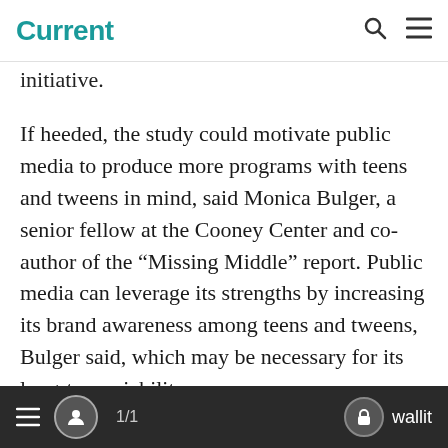Current
initiative.
If heeded, the study could motivate public media to produce more programs with teens and tweens in mind, said Monica Bulger, a senior fellow at the Cooney Center and co-author of the “Missing Middle” report. Public media can leverage its strengths by increasing its brand awareness among teens and tweens, Bulger said, which may be necessary for its long-term viability.
1/1  wallit